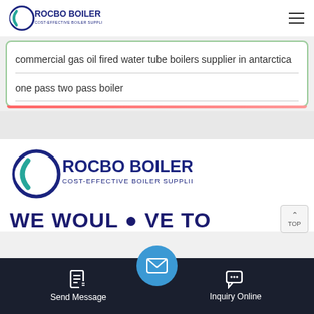[Figure (logo): Rocbo Boiler logo - Cost-Effective Boiler Supplier, small version in page header]
commercial gas oil fired water tube boilers supplier in antarctica
one pass two pass boiler
[Figure (logo): Rocbo Boiler logo - Cost-Effective Boiler Supplier, large version in footer area]
WE WOULD LOVE TO
Send Message
Inquiry Online